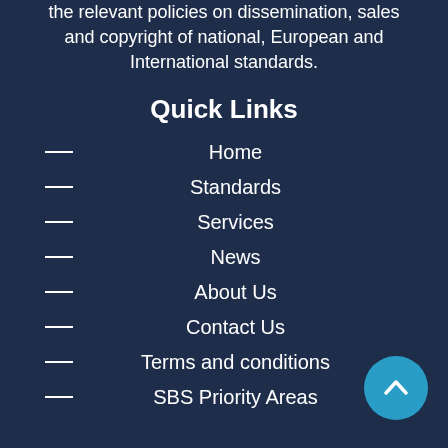the relevant policies on dissemination, sales and copyright of national, European and International standards.
Quick Links
Home
Standards
Services
News
About Us
Contact Us
Terms and conditions
SBS Priority Areas